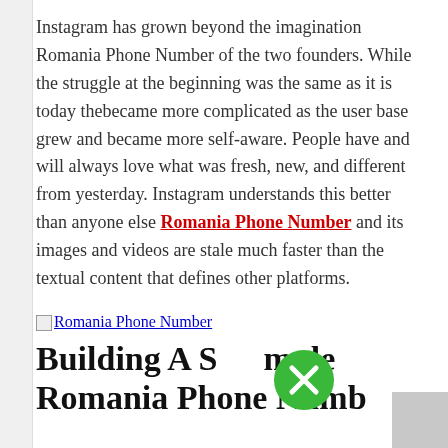Instagram has grown beyond the imagination Romania Phone Number of the two founders. While the struggle at the beginning was the same as it is today thebecame more complicated as the user base grew and became more self-aware. People have and will always love what was fresh, new, and different from yesterday. Instagram understands this better than anyone else Romania Phone Number and its images and videos are stale much faster than the textual content that defines other platforms.
[Figure (other): Broken image placeholder with alt text 'Romania Phone Number' shown as a link]
Building A Simple Romania Phone Number